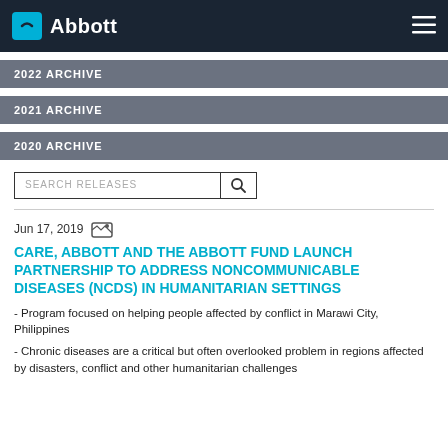Abbott
2022 ARCHIVE
2021 ARCHIVE
2020 ARCHIVE
SEARCH RELEASES
Jun 17, 2019
CARE, ABBOTT AND THE ABBOTT FUND LAUNCH PARTNERSHIP TO ADDRESS NONCOMMUNICABLE DISEASES (NCDS) IN HUMANITARIAN SETTINGS
- Program focused on helping people affected by conflict in Marawi City, Philippines
- Chronic diseases are a critical but often overlooked problem in regions affected by disasters, conflict and other humanitarian challenges